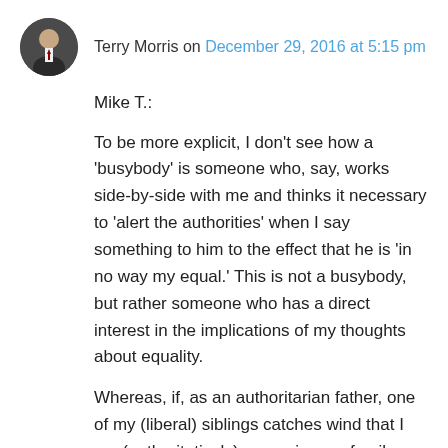Terry Morris on December 29, 2016 at 5:15 pm
Mike T.:
To be more explicit, I don't see how a 'busybody' is someone who, say, works side-by-side with me and thinks it necessary to 'alert the authorities' when I say something to him to the effect that he is 'in no way my equal.' This is not a busybody, but rather someone who has a direct interest in the implications of my thoughts about equality.
Whereas, if, as an authoritarian father, one of my (liberal) siblings catches wind that I am (authoritatively) governing my family, and disagrees with this to the extent that she calls